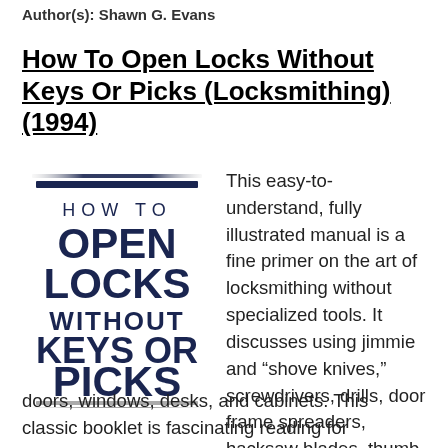Author(s): Shawn G. Evans
How To Open Locks Without Keys Or Picks (Locksmithing) (1994)
[Figure (illustration): Book cover for 'How To Open Locks Without Keys Or Picks' showing bold title text with 'HOW TO' in medium weight, 'OPEN LOCKS WITHOUT KEYS OR PICKS' in heavy bold dark navy, with decorative horizontal gradient bars at top and bottom.]
This easy-to-understand, fully illustrated manual is a fine primer on the art of locksmithing without specialized tools. It discusses using jimmie and “shove knives,” screwdrivers, drills, door frame spreaders, hacksaw blades, thumb tacks, elastic bands, and other common tools and items to open doors, windows, desks, and cabinets. This classic booklet is fascinating reading for professional locksmiths or